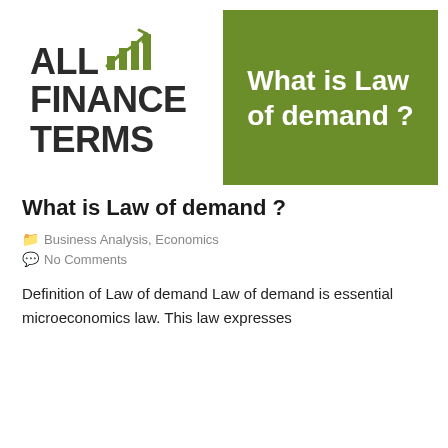[Figure (logo): All Finance Terms logo with bar chart icon and green title banner saying 'What is Law of demand ?']
What is Law of demand ?
Business Analysis, Economics
No Comments
Definition of Law of demand Law of demand is essential microeconomics law. This law expresses